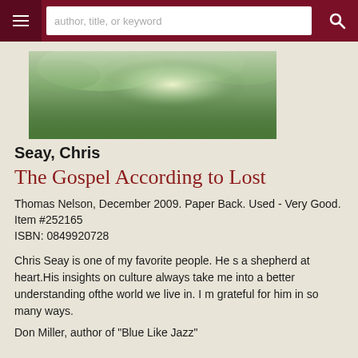author, title, or keyword
[Figure (photo): Book cover image showing a lush green forest with misty light filtering through the trees]
Seay, Chris
The Gospel According to Lost
Thomas Nelson, December 2009. Paper Back. Used - Very Good. Item #252165
ISBN: 0849920728
Chris Seay is one of my favorite people. He s a shepherd at heart.His insights on culture always take me into a better understanding ofthe world we live in. I m grateful for him in so many ways.
Don Miller, author of "Blue Like Jazz"